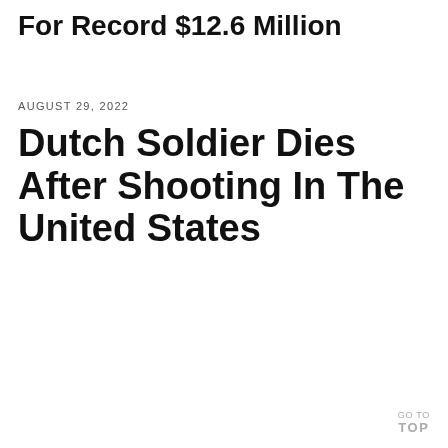For Record $12.6 Million
AUGUST 29, 2022
Dutch Soldier Dies After Shooting In The United States
GO TO TOP